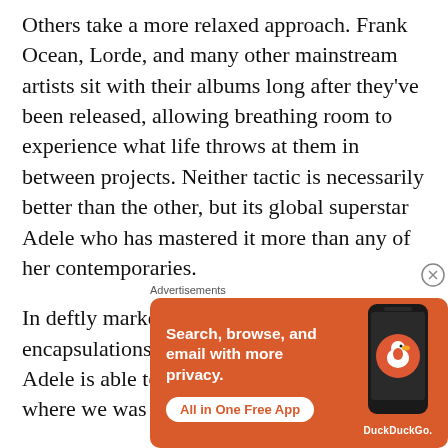Others take a more relaxed approach. Frank Ocean, Lorde, and many other mainstream artists sit with their albums long after they've been released, allowing breathing room to experience what life throws at them in between projects. Neither tactic is necessarily better than the other, but its global superstar Adele who has mastered it more than any of her contemporaries.
In deftly marketing her albums as encapsulations of chapters of life through age, Adele is able to seamlessly paint portraits of where we was
[Figure (other): DuckDuckGo advertisement banner on orange background showing 'Search, browse, and email with more privacy. All in One Free App' with an image of a smartphone and the DuckDuckGo logo/duck icon]